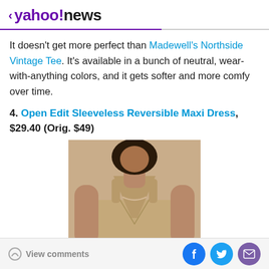< yahoo!news
It doesn't get more perfect than Madewell's Northside Vintage Tee. It's available in a bunch of neutral, wear-with-anything colors, and it gets softer and more comfy over time.
4. Open Edit Sleeveless Reversible Maxi Dress, $29.40 (Orig. $49)
[Figure (photo): Model wearing a beige/tan sleeveless v-neck maxi dress, shown from neck to waist, with curly hair and a necklace.]
View comments | Facebook | Twitter | Email